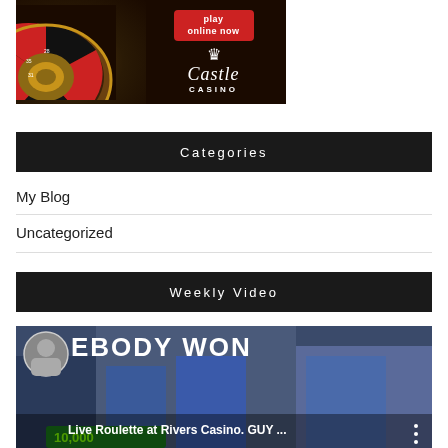[Figure (photo): Castle Casino advertisement banner showing a roulette wheel on the left against a dark background, a red 'play online now' button, crown icon, Castle Casino logo in white script text]
Categories
My Blog
Uncategorized
Weekly Video
[Figure (screenshot): Video thumbnail showing Live Roulette at Rivers Casino with text 'SOMEBODY WON' visible and '10,000' at the bottom, title overlay reads 'Live Roulette at Rivers Casino. GUY ...']